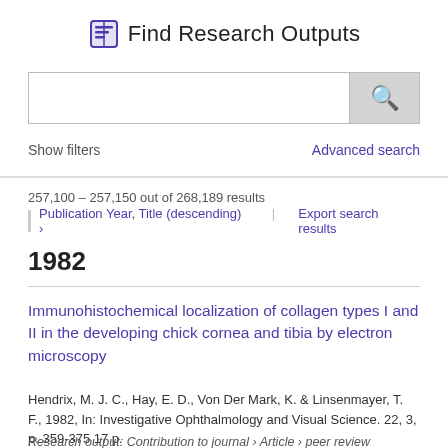Find Research Outputs
[Figure (screenshot): Search input box with magnifying glass search button]
Show filters
Advanced search
257,100 – 257,150 out of 268,189 results
Publication Year, Title (descending) ›  |  Export search results
1982
Immunohistochemical localization of collagen types I and II in the developing chick cornea and tibia by electron microscopy
Hendrix, M. J. C., Hay, E. D., Von Der Mark, K. & Linsenmayer, T. F., 1982, In: Investigative Ophthalmology and Visual Science. 22, 3, p. 359-375 17 p.
Research output: Contribution to journal › Article › peer review